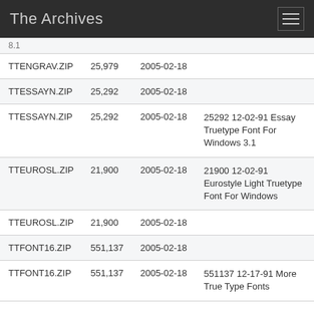The Archives
| Filename | Size | Date | Description |
| --- | --- | --- | --- |
| TTENGRAV.ZIP | 25,979 | 2005-02-18 |  |
| TTESSAYN.ZIP | 25,292 | 2005-02-18 |  |
| TTESSAYN.ZIP | 25,292 | 2005-02-18 | 25292 12-02-91 Essay Truetype Font For Windows 3.1 |
| TTEUROSL.ZIP | 21,900 | 2005-02-18 | 21900 12-02-91 Eurostyle Light Truetype Font For Windows |
| TTEUROSL.ZIP | 21,900 | 2005-02-18 |  |
| TTFONT16.ZIP | 551,137 | 2005-02-18 |  |
| TTFONT16.ZIP | 551,137 | 2005-02-18 | 551137 12-17-91 More True Type Fonts |